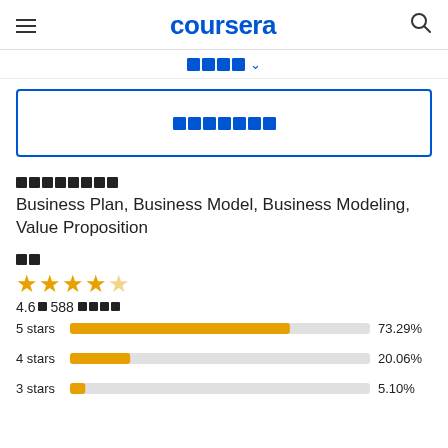coursera
■■■■ ∨ (filter placeholder)
■■■■■■■ (enroll button placeholder)
■■■■■■■■ (skills label)
Business Plan, Business Model, Business Modeling, Value Proposition
■■ (rating label)
★★★★☆ 4.6 588 ■■■■
[Figure (bar-chart): Star ratings]